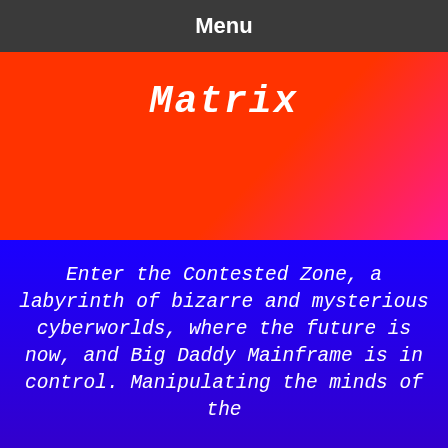Menu
Matrix
Enter the Contested Zone, a labyrinth of bizarre and mysterious cyberworlds, where the future is now, and Big Daddy Mainframe is in control. Manipulating the minds of the